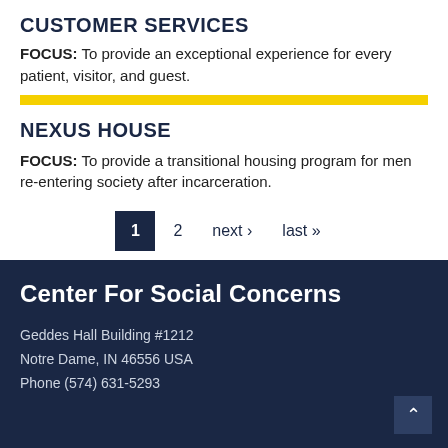CUSTOMER SERVICES
FOCUS: To provide an exceptional experience for every patient, visitor, and guest.
NEXUS HOUSE
FOCUS: To provide a transitional housing program for men re-entering society after incarceration.
1  2  next ›  last »
Center For Social Concerns
Geddes Hall Building #1212
Notre Dame, IN 46556 USA
Phone (574) 631-5293